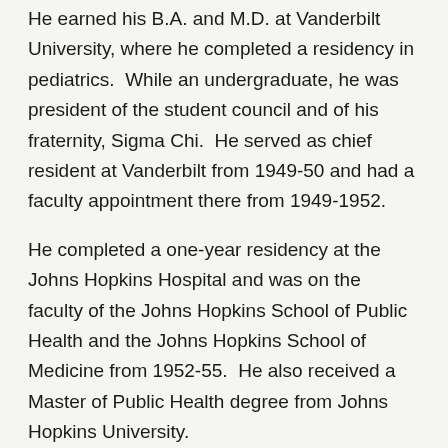He earned his B.A. and M.D. at Vanderbilt University, where he completed a residency in pediatrics.  While an undergraduate, he was president of the student council and of his fraternity, Sigma Chi.  He served as chief resident at Vanderbilt from 1949-50 and had a faculty appointment there from 1949-1952.
He completed a one-year residency at the Johns Hopkins Hospital and was on the faculty of the Johns Hopkins School of Public Health and the Johns Hopkins School of Medicine from 1952-55.  He also received a Master of Public Health degree from Johns Hopkins University.
He served in the U.S. Army during World War II and in the U.S. Army Medical Corps from 1946-48 in Giessen, Germany, as ward officer for contagious diseases and